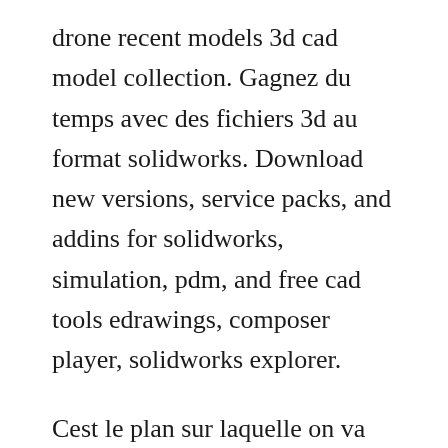drone recent models 3d cad model collection. Gagnez du temps avec des fichiers 3d au format solidworks. Download new versions, service packs, and addins for solidworks, simulation, pdm, and free cad tools edrawings, composer player, solidworks explorer.
Cest le plan sur laquelle on va dessiner notre premiere esquisse dans tous les exercices. Avoir solidworks 201819 gratuitement legal youtube. Pa, the 3dexperience company, world leader in 3d design software, 3d digital